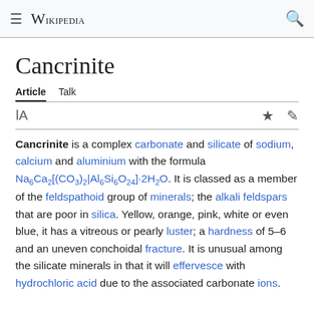≡ WIKIPEDIA 🔍
Cancrinite
Article  Talk
Cancrinite is a complex carbonate and silicate of sodium, calcium and aluminium with the formula Na6Ca2[(CO3)2|Al6Si6O24]·2H2O. It is classed as a member of the feldspathoid group of minerals; the alkali feldspars that are poor in silica. Yellow, orange, pink, white or even blue, it has a vitreous or pearly luster; a hardness of 5–6 and an uneven conchoidal fracture. It is unusual among the silicate minerals in that it will effervesce with hydrochloric acid due to the associated carbonate ions.